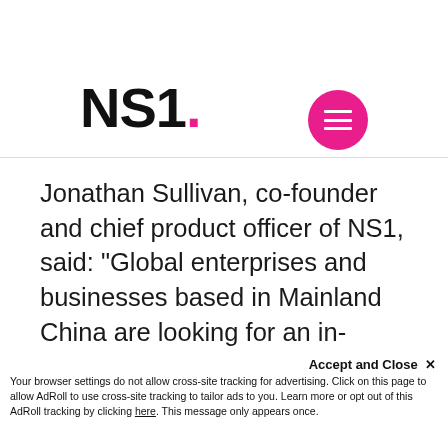[Figure (logo): NS1. logo with pink dot]
Jonathan Sullivan, co-founder and chief product officer of NS1, said: "Global enterprises and businesses based in Mainland China are looking for an in-region DNS solution that offers improved reliability and performance along with
The NS1 website uses cookies to make your online experience easier and better. By using our website, you consent to our use of cookies. For more information, see our Privacy Policy.
Accept and Close ✕
Your browser settings do not allow cross-site tracking for advertising. Click on this page to allow AdRoll to use cross-site tracking to tailor ads to you. Learn more or opt out of this AdRoll tracking by clicking here. This message only appears once.